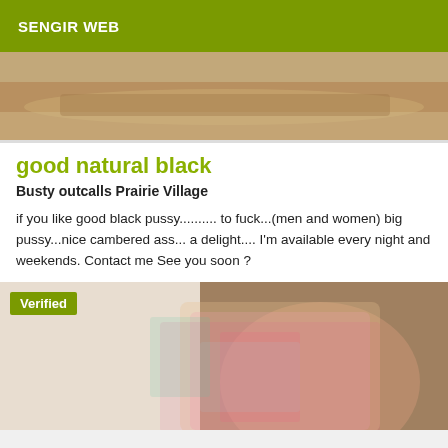SENGIR WEB
[Figure (photo): Close-up photo of legs on a light surface]
good natural black
Busty outcalls Prairie Village
if you like good black pussy.......... to fuck...(men and women) big pussy...nice cambered ass... a delight.... I'm available every night and weekends. Contact me See you soon ?
[Figure (photo): Photo of a person in a floral dress on a bed, with a Verified badge overlay]